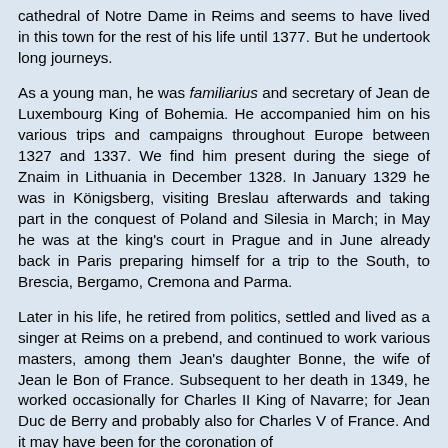cathedral of Notre Dame in Reims and seems to have lived in this town for the rest of his life until 1377. But he undertook long journeys.
As a young man, he was familiarius and secretary of Jean de Luxembourg King of Bohemia. He accompanied him on his various trips and campaigns throughout Europe between 1327 and 1337. We find him present during the siege of Znaim in Lithuania in December 1328. In January 1329 he was in Königsberg, visiting Breslau afterwards and taking part in the conquest of Poland and Silesia in March; in May he was at the king's court in Prague and in June already back in Paris preparing himself for a trip to the South, to Brescia, Bergamo, Cremona and Parma.
Later in his life, he retired from politics, settled and lived as a singer at Reims on a prebend, and continued to work various masters, among them Jean's daughter Bonne, the wife of Jean le Bon of France. Subsequent to her death in 1349, he worked occasionally for Charles II King of Navarre; for Jean Duc de Berry and probably also for Charles V of France. And it may have been for the coronation of